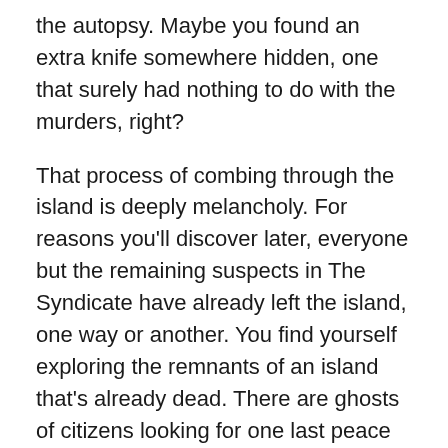the autopsy. Maybe you found an extra knife somewhere hidden, one that surely had nothing to do with the murders, right?
That process of combing through the island is deeply melancholy. For reasons you'll discover later, everyone but the remaining suspects in The Syndicate have already left the island, one way or another. You find yourself exploring the remnants of an island that's already dead. There are ghosts of citizens looking for one last peace before annihilation. Alongside evidence related to the case, you find pamphlets talking about worker conditions, squirrelled away contraband punk music and pornography, whiskey that's been bottled from another island long ago. The game uses that vaporwave aesthetic to really highlight that sense of loneliness like all those great abandoned mall videos do.